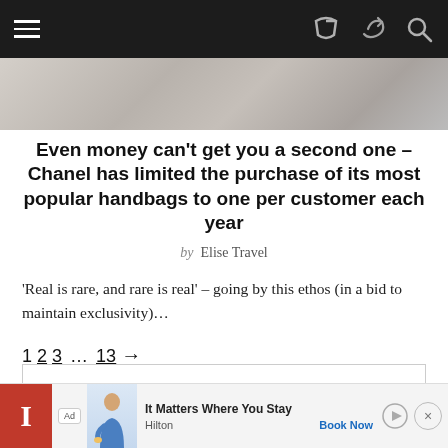Navigation bar with hamburger menu, share and search icons
[Figure (photo): Partial photo of a person with a handbag, cropped at the top of the page]
Even money can’t get you a second one – Chanel has limited the purchase of its most popular handbags to one per customer each year
by Elise Travel
‘Real is rare, and rare is real’ – going by this ethos (in a bid to maintain exclusivity)…
1 2 3 … 13 →
LETS CONNECT –
[Figure (other): Advertisement banner: Hilton — It Matters Where You Stay, Book Now]